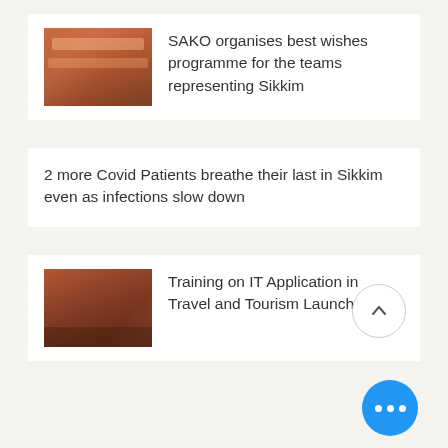[Figure (photo): Group photo of people, thumbnail for SAKO news article]
SAKO organises best wishes programme for the teams representing Sikkim
2 more Covid Patients breathe their last in Sikkim even as infections slow down
[Figure (photo): Indoor training session photo, thumbnail for IT Application article]
Training on IT Application in Travel and Tourism Launched.
[Figure (photo): Great Taste Tea Award packaging thumbnail for Temi Tea article]
Great Taste Tea Award for Temi Tea in London